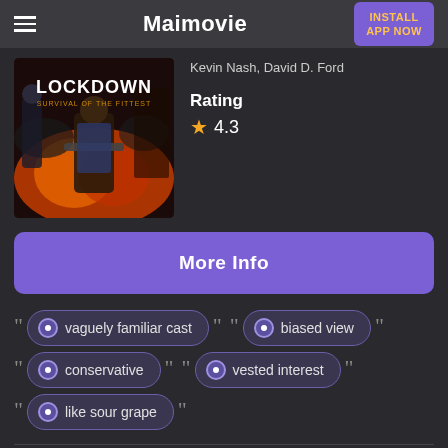Maimovie
Kevin Nash, David D. Ford
[Figure (photo): Movie poster for Lockdown: Survival of the Fittest showing armed figures with fire and chaos in the background]
Rating
★ 4.3
More Info
vaguely familiar cast
biased view
conservative
vested interest
like sour grape